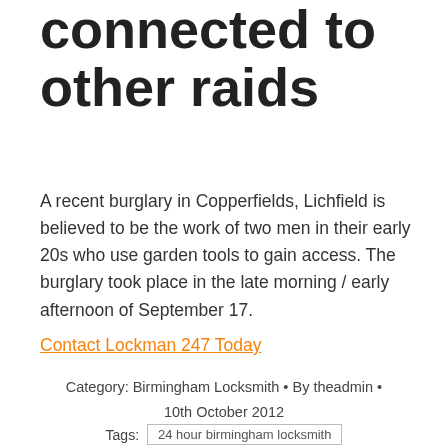connected to other raids
A recent burglary in Copperfields, Lichfield is believed to be the work of two men in their early 20s who use garden tools to gain access. The burglary took place in the late morning / early afternoon of September 17.
Contact Lockman 247 Today
Category: Birmingham Locksmith • By theadmin • 10th October 2012
Tags: 24 hour birmingham locksmith